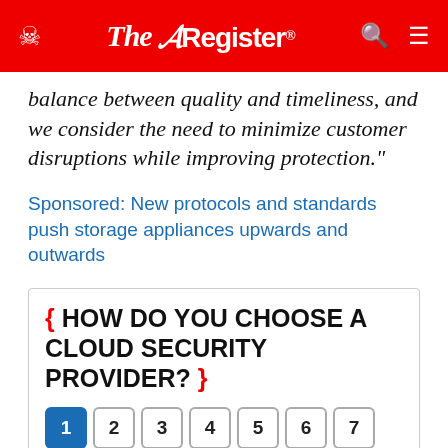The Register
balance between quality and timeliness, and we consider the need to minimize customer disruptions while improving protection."
Sponsored: New protocols and standards push storage appliances upwards and outwards
{ HOW DO YOU CHOOSE A CLOUD SECURITY PROVIDER? }
1 2 3 4 5 6 7
What is the most important factor when selecting a Cloud Security provider?